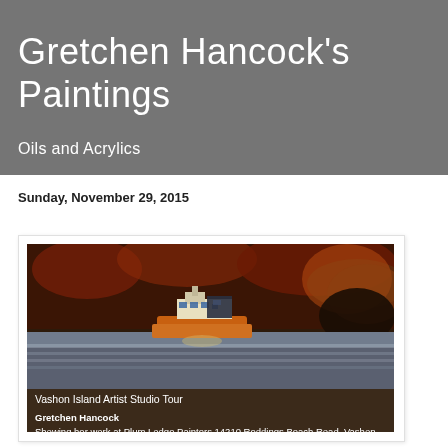Gretchen Hancock's Paintings
Oils and Acrylics
Sunday, November 29, 2015
[Figure (photo): A painting of a Vashon Island ferry scene with a boat in water, rich brown and orange tones, with text overlay reading: Vashon Island Artist Studio Tour / Gretchen Hancock / Showing her work at Plum Lodge Painters / 14210 Reddings Beach Road, Vashon, WA / #1 on the Vashon Island Artist Studio Tour]